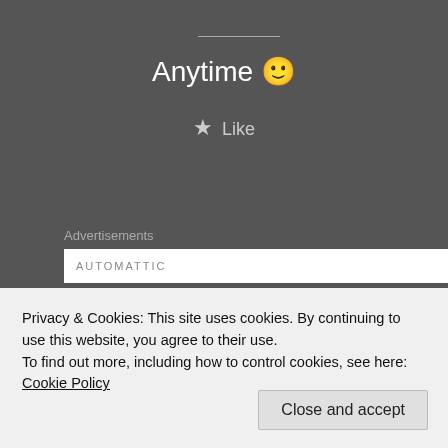Anytime 🙂
★ Like
Advertisements
[Figure (other): Advertisement box with text AUTOMATTIC]
[Figure (photo): Profile photo of a person outdoors]
Brothers Campfire
Privacy & Cookies: This site uses cookies. By continuing to use this website, you agree to their use.
To find out more, including how to control cookies, see here: Cookie Policy
Close and accept